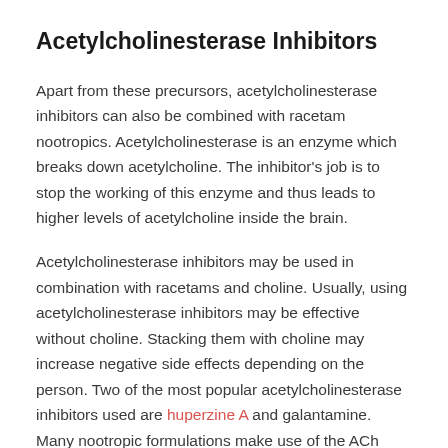Acetylcholinesterase Inhibitors
Apart from these precursors, acetylcholinesterase inhibitors can also be combined with racetam nootropics. Acetylcholinesterase is an enzyme which breaks down acetylcholine. The inhibitor’s job is to stop the working of this enzyme and thus leads to higher levels of acetylcholine inside the brain.
Acetylcholinesterase inhibitors may be used in combination with racetams and choline. Usually, using acetylcholinesterase inhibitors may be effective without choline. Stacking them with choline may increase negative side effects depending on the person. Two of the most popular acetylcholinesterase inhibitors used are huperzine A and galantamine. Many nootropic formulations make use of the ACh